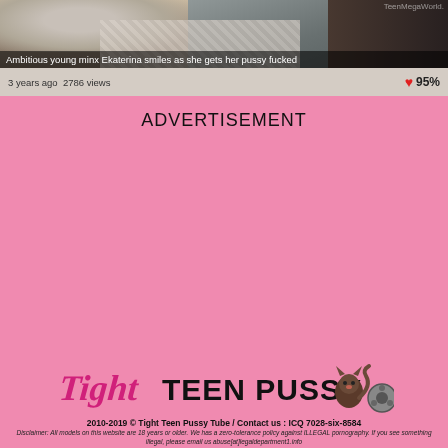[Figure (photo): Thumbnail image of a bedroom scene with fur/fabric textures visible, dark background on right side. Watermark 'TeenMegaWorld.' visible top right.]
Ambitious young minx Ekaterina smiles as she gets her pussy fucked
3 years ago  2786 views  ♥ 95%
ADVERTISEMENT
[Figure (logo): Tight Teen Pussy logo with stylized script 'Tight' in pink/magenta and bold black 'TEEN PUSSY' text, with cat-woman mascot and film reel graphic]
2010-2019 © Tight Teen Pussy Tube / Contact us : ICQ 7028-six-8584
Disclaimer: All models on this website are 18 years or older. We has a zero-tolerance policy against ILLEGAL pornography. If you see something illegal, please email us abuse[at]legaldepartment1.info